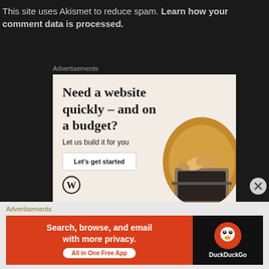This site uses Akismet to reduce spam. Learn how your comment data is processed.
Advertisements
[Figure (infographic): WordPress advertisement: 'Need a website quickly – and on a budget? Let us build it for you' with a 'Let's get started' button, WordPress logo, and a photo of person typing on laptop.]
Advertisements
[Figure (infographic): DuckDuckGo advertisement: 'Search, browse, and email with more privacy. All in One Free App' with DuckDuckGo logo on dark background.]